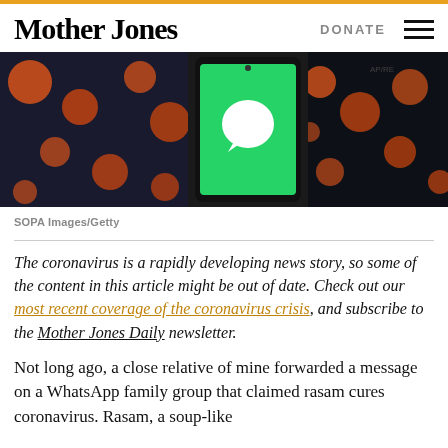Mother Jones | DONATE
[Figure (photo): Composite image showing coronavirus particles on left and right sides (orange circular virus particles on dark background) and WhatsApp logo (white chat bubble on green background) in the center on a smartphone screen.]
SOPA Images/Getty
The coronavirus is a rapidly developing news story, so some of the content in this article might be out of date. Check out our most recent coverage of the coronavirus crisis, and subscribe to the Mother Jones Daily newsletter.
Not long ago, a close relative of mine forwarded a message on a WhatsApp family group that claimed rasam cures coronavirus. Rasam, a soup-like